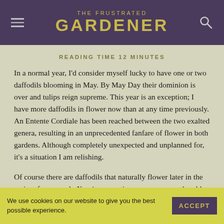THE FRUSTRATED GARDENER
READING TIME 12 MINUTES
In a normal year, I'd consider myself lucky to have one or two daffodils blooming in May. By May Day their dominion is over and tulips reign supreme. This year is an exception; I have more daffodils in flower now than at any time previously. An Entente Cordiale has been reached between the two exalted genera, resulting in an unprecedented fanfare of flower in both gardens. Although completely unexpected and unplanned for, it's a situation I am relishing.
Of course there are daffodils that naturally flower later in the spring, for example Narcissus poeticus var. recurvus, the old pheasant's eye daffodil. It's always nice to plant a few of these, although perhaps they are not as deeply treasured as
We use cookies on our website to give you the best possible experience.